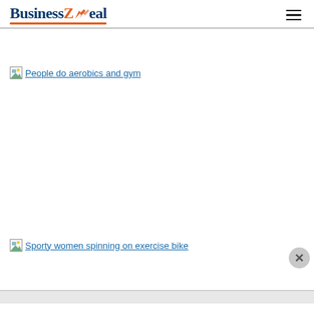[Figure (logo): BusinessZeal logo with orange Z and arrow accent, orange underline]
[Figure (other): Hamburger menu icon (three horizontal lines)]
[Figure (photo): Broken image placeholder with alt text: People do aerobics and gym]
[Figure (photo): Broken image placeholder with alt text: Sporty women spinning on exercise bike]
[Figure (other): Close/dismiss button (X in circle) in bottom right area]